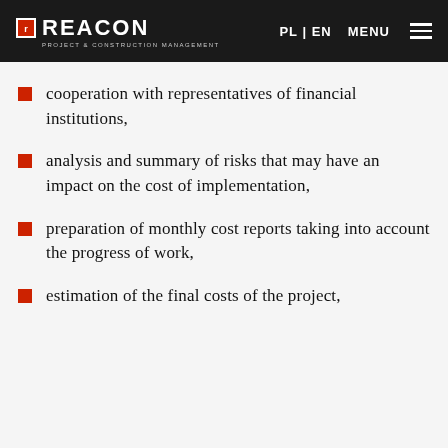REACON PROJECT & CONSTRUCTION MANAGEMENT | PL | EN  MENU
cooperation with representatives of financial institutions,
analysis and summary of risks that may have an impact on the cost of implementation,
preparation of monthly cost reports taking into account the progress of work,
estimation of the final costs of the project,